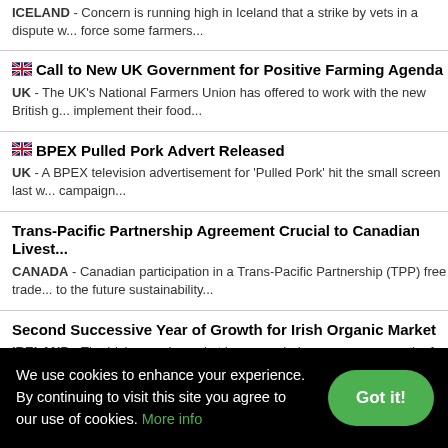ICELAND - Concern is running high in Iceland that a strike by vets in a dispute w... force some farmers...
🇬🇧 Call to New UK Government for Positive Farming Agenda
UK - The UK's National Farmers Union has offered to work with the new British g... implement their food...
🇬🇧 BPEX Pulled Pork Advert Released
UK - A BPEX television advertisement for 'Pulled Pork' hit the small screen last w... campaign...
Trans-Pacific Partnership Agreement Crucial to Canadian Livest...
CANADA - Canadian participation in a Trans-Pacific Partnership (TPP) free trade... to the future sustainability...
Second Successive Year of Growth for Irish Organic Market
IRELAND - The Irish organic market has recorded year on year growth of 3.1 per... latest figures...
🇫🇷 French Poultry Companies Fined for Price Fixing
We use cookies to enhance your experience. By continuing to visit this site you agree to our use of cookies. More info